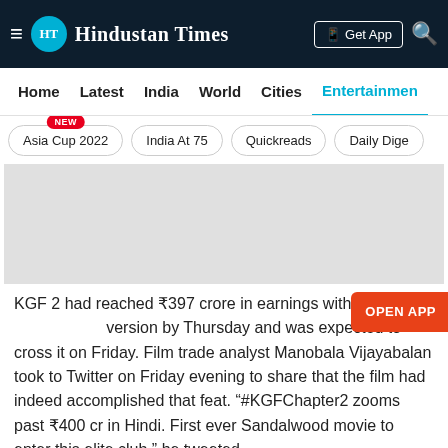Hindustan Times
Home | Latest | India | World | Cities | Entertainment
Asia Cup 2022 NEW | India At 75 | Quickreads | Daily Dige
[Figure (other): Gray advertisement placeholder banner]
KGF 2 had reached ₹397 crore in earnings with its version by Thursday and was expected to cross it on Friday. Film trade analyst Manobala Vijayabalan took to Twitter on Friday evening to share that the film had indeed accomplished that feat. "#KGFChapter2 zooms past ₹400 cr in Hindi. First ever Sandalwood movie to enter this elite club," he tweeted.
#KGFChapter2 ZOOMS past ₹400 cr in Hindi